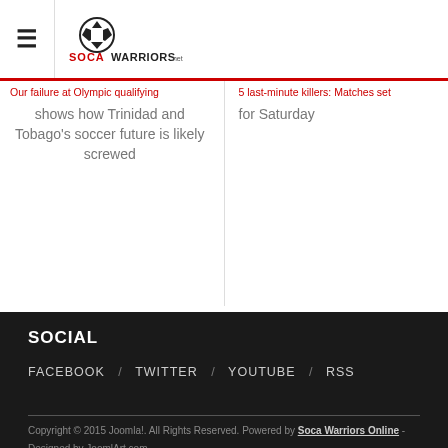≡ SOCAWARRIORS.net
Our failure at Olympic qualifying shows how Trinidad and Tobago's soccer future is likely screwed
5 last-minute killers: Matches set for Saturday
SOCIAL
FACEBOOK / TWITTER / YOUTUBE / RSS
Copyright © 2015 Joomla!. All Rights Reserved. Powered by Soca Warriors Online - Designed by JoomlArt.com.